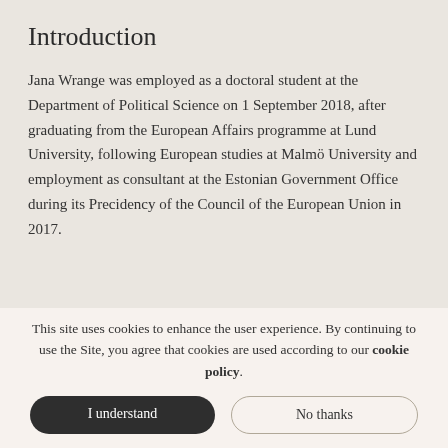Introduction
Jana Wrange was employed as a doctoral student at the Department of Political Science on 1 September 2018, after graduating from the European Affairs programme at Lund University, following European studies at Malmö University and employment as consultant at the Estonian Government Office during its Precidency of the Council of the European Union in 2017.
This site uses cookies to enhance the user experience. By continuing to use the Site, you agree that cookies are used according to our cookie policy.